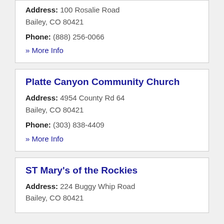Address: 100 Rosalie Road
Bailey, CO 80421
Phone: (888) 256-0066
» More Info
Platte Canyon Community Church
Address: 4954 County Rd 64
Bailey, CO 80421
Phone: (303) 838-4409
» More Info
ST Mary's of the Rockies
Address: 224 Buggy Whip Road
Bailey, CO 80421